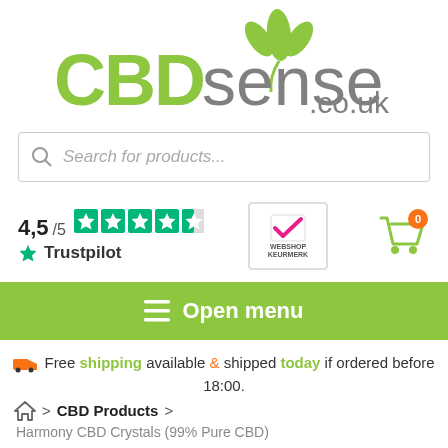[Figure (logo): CBDsense.co.uk logo with green plant leaves icon above the text. CBD in green bold, sense in gray, .co.uk in gray smaller.]
[Figure (screenshot): Search bar with placeholder text 'Search for products...' and a magnifying glass icon]
[Figure (infographic): Trust bar: 4,5/5 Trustpilot rating with 4.5 green stars, Webshop Keurmerk badge, and shopping cart icon with orange badge showing 0]
[Figure (infographic): Green navigation bar with hamburger menu icon and text 'Open menu']
🚚 Free shipping available & shipped today if ordered before 18:00.
🏠 > CBD Products > Harmony CBD Crystals (99% Pure CBD)